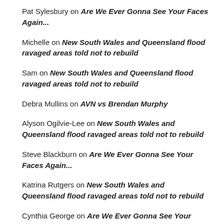Pat Sylesbury on Are We Ever Gonna See Your Faces Again...
Michelle on New South Wales and Queensland flood ravaged areas told not to rebuild
Sam on New South Wales and Queensland flood ravaged areas told not to rebuild
Debra Mullins on AVN vs Brendan Murphy
Alyson Ogilvie-Lee on New South Wales and Queensland flood ravaged areas told not to rebuild
Steve Blackburn on Are We Ever Gonna See Your Faces Again...
Katrina Rutgers on New South Wales and Queensland flood ravaged areas told not to rebuild
Cynthia George on Are We Ever Gonna See Your Faces Again...
Jacqui on Are We Ever Gonna See Your Faces Again...
Alison Egleton on Are We Ever Gonna See Your Faces Again...
Jo Unico on Are We Ever Gonna See Your Faces Again...